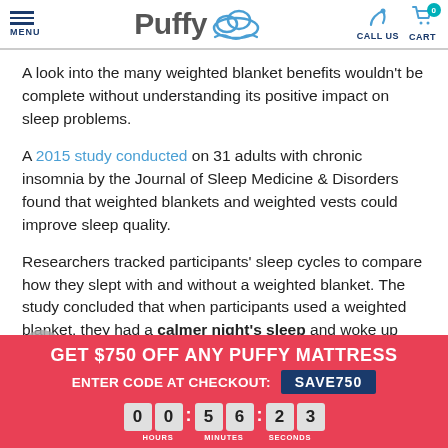Puffy — MENU | CALL US | CART 0
A look into the many weighted blanket benefits wouldn't be complete without understanding its positive impact on sleep problems.
A 2015 study conducted on 31 adults with chronic insomnia by the Journal of Sleep Medicine & Disorders found that weighted blankets and weighted vests could improve sleep quality.
Researchers tracked participants' sleep cycles to compare how they slept with and without a weighted blanket. The study concluded that when participants used a weighted blanket, they had a calmer night's sleep and woke up feeling more refreshed.
GET $750 OFF ANY PUFFY MATTRESS
ENTER CODE AT CHECKOUT: SAVE750
00:56:23